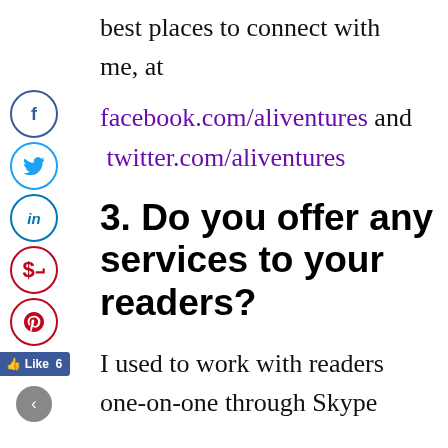best places to connect with me, at
facebook.com/aliventures and twitter.com/aliventures
3. Do you offer any services to your readers?
I used to work with readers one-on-one through Skype